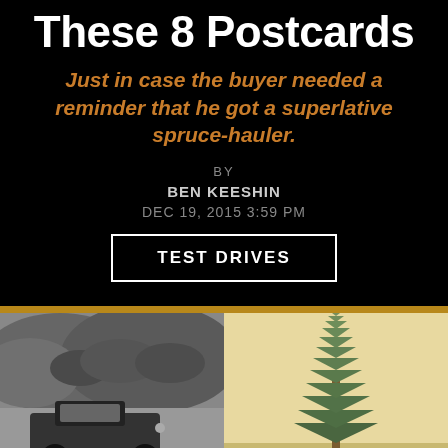These 8 Postcards
Just in case the buyer needed a reminder that he got a superlative spruce-hauler.
BY
BEN KEESHIN
DEC 19, 2015 3:59 PM
TEST DRIVES
[Figure (photo): Black and white photograph of an old vehicle on a rural hillside road with vegetation]
[Figure (photo): Sepia-toned photograph of a tall spruce tree against a light sky]